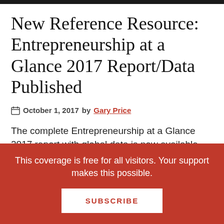New Reference Resource: Entrepreneurship at a Glance 2017 Report/Data Published
October 1, 2017 by Gary Price
The complete Entrepreneurship at a Glance 2017 report with global data is now available online (free)
This coverage is free for all visitors. Your support makes this possible.
SUBSCRIBE